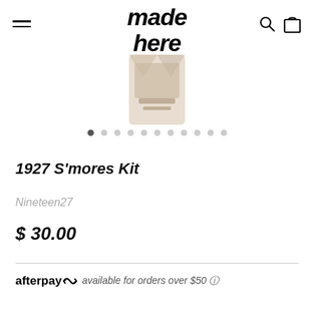made here
[Figure (photo): Partial product image of 1927 S'mores Kit packaging on white background, image cropped at top]
[Figure (other): Carousel indicator dots, 11 dots total, first dot filled/active]
1927 S'mores Kit
Nineteen27
$ 30.00
afterpay available for orders over $50 ⓘ